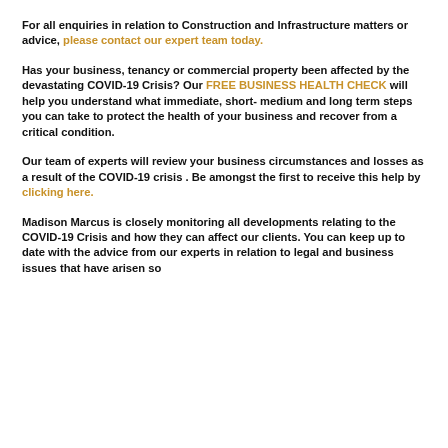For all enquiries in relation to Construction and Infrastructure matters or advice, please contact our expert team today.
Has your business, tenancy or commercial property been affected by the devastating COVID-19 Crisis? Our FREE BUSINESS HEALTH CHECK will help you understand what immediate, short- medium and long term steps you can take to protect the health of your business and recover from a critical condition.
Our team of experts will review your business circumstances and losses as a result of the COVID-19 crisis . Be amongst the first to receive this help by clicking here.
Madison Marcus is closely monitoring all developments relating to the COVID-19 Crisis and how they can affect our clients. You can keep up to date with the advice from our experts in relation to legal and business issues that have arisen so